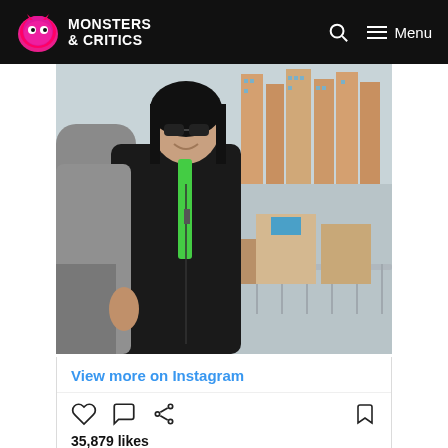Monsters & Critics
[Figure (photo): Instagram embed showing a person in a black leather jacket and green tie-style accessory on a rooftop balcony with a city skyline in the background]
View more on Instagram
35,879 likes
adam_gottschalk